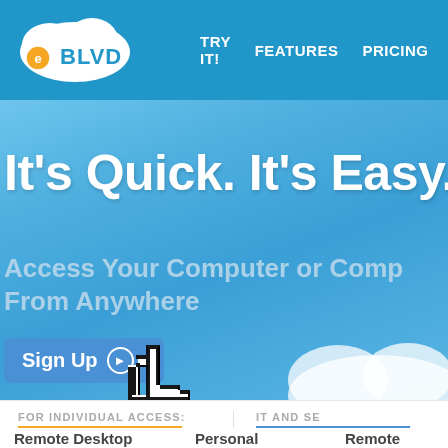eBLVD | TRY IT! FEATURES PRICING TEST
It's Quick. It's Easy.
Access Your Computer or Comp From Anywhere
Sign Up →
[Figure (screenshot): Mouse pointer cursor icon pointing at Sign Up button]
FOR INDIVIDUAL ACCESS:
IT AND SE
Remote Desktop   Personal   Remote